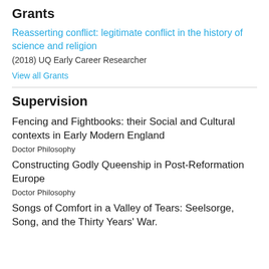Grants
Reasserting conflict: legitimate conflict in the history of science and religion
(2018) UQ Early Career Researcher
View all Grants
Supervision
Fencing and Fightbooks: their Social and Cultural contexts in Early Modern England
Doctor Philosophy
Constructing Godly Queenship in Post-Reformation Europe
Doctor Philosophy
Songs of Comfort in a Valley of Tears: Seelsorge, Song, and the Thirty Years' War.